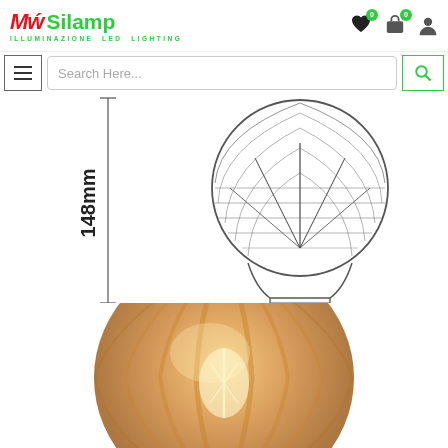[Figure (logo): Silamp logo with red MW monogram, green Silamp text, and ILLUMINAZIONE LED LIGHTING tagline]
[Figure (screenshot): Website header icons: heart/wishlist with 0 badge, shopping bag with 0 badge, user account icon]
[Figure (screenshot): Navigation bar with hamburger menu button, search input placeholder 'Search Here...', and green search button]
[Figure (engineering-diagram): Technical line drawing of a G95 globe LED filament bulb with E27 base, showing 148mm height dimension with measurement line on left side]
[Figure (photo): Photograph of an amber/gold ribbed globe LED filament bulb (G95) showing warm glowing filaments inside the decorative ribbed glass]